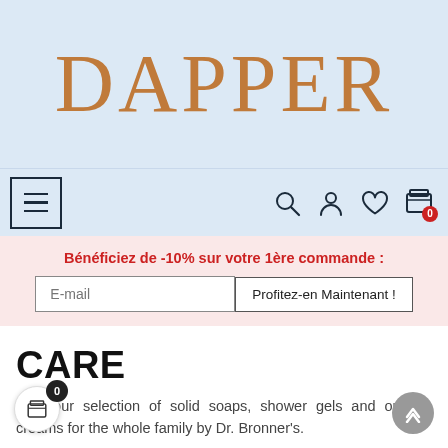DAPPER
[Figure (screenshot): Navigation bar with hamburger menu icon on left and search, user, heart, cart icons on right]
Bénéficiez de -10% sur votre 1ère commande :
[Figure (screenshot): Email input field with placeholder 'E-mail' and button 'Profitez-en Maintenant !']
CARE
Find our selection of solid soaps, shower gels and organic creams for the whole family by Dr. Bronner's.